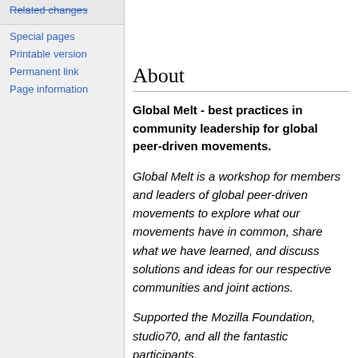Related changes
Special pages
Printable version
Permanent link
Page information
About
Global Melt - best practices in community leadership for global peer-driven movements.
Global Melt is a workshop for members and leaders of global peer-driven movements to explore what our movements have in common, share what we have learned, and discuss solutions and ideas for our respective communities and joint actions.
Supported the Mozilla Foundation, studio70, and all the fantastic participants.